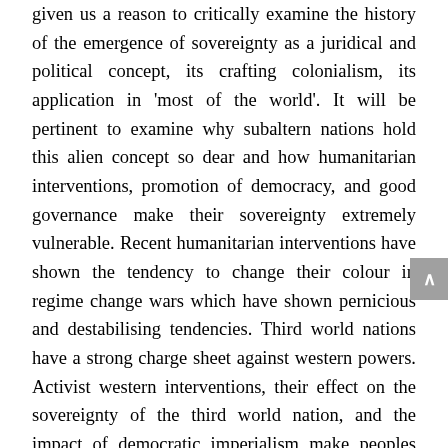given us a reason to critically examine the history of the emergence of sovereignty as a juridical and political concept, its crafting colonialism, its application in 'most of the world'. It will be pertinent to examine why subaltern nations hold this alien concept so dear and how humanitarian interventions, promotion of democracy, and good governance make their sovereignty extremely vulnerable. Recent humanitarian interventions have shown the tendency to change their colour in regime change wars which have shown pernicious and destabilising tendencies. Third world nations have a strong charge sheet against western powers. Activist western interventions, their effect on the sovereignty of the third world nation, and the impact of democratic imperialism make peoples and nations of the third world very vulnerable. Their agency of self-determination is